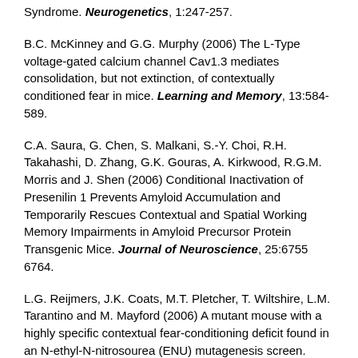Syndrome. Neurogenetics, 1:247-257.
B.C. McKinney and G.G. Murphy (2006) The L-Type voltage-gated calcium channel Cav1.3 mediates consolidation, but not extinction, of contextually conditioned fear in mice. Learning and Memory, 13:584-589.
C.A. Saura, G. Chen, S. Malkani, S.-Y. Choi, R.H. Takahashi, D. Zhang, G.K. Gouras, A. Kirkwood, R.G.M. Morris and J. Shen (2006) Conditional Inactivation of Presenilin 1 Prevents Amyloid Accumulation and Temporarily Rescues Contextual and Spatial Working Memory Impairments in Amyloid Precursor Protein Transgenic Mice. Journal of Neuroscience, 25:6755 6764.
L.G. Reijmers, J.K. Coats, M.T. Pletcher, T. Wiltshire, L.M. Tarantino and M. Mayford (2006) A mutant mouse with a highly specific contextual fear-conditioning deficit found in an N-ethyl-N-nitrosourea (ENU) mutagenesis screen. Learning and Memory, 13:143-149
Gleb P. Shumyatsky, Ga l Malleret, Ryong-Moon Shin, Shuichi Takizawa, Keith Tully, Evgeny Tsvetkov, Stanislav S. ...